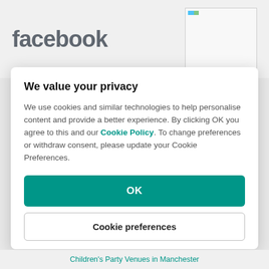[Figure (logo): Facebook logo text in gray]
[Figure (photo): Small broken image placeholder with colored corner icon]
We value your privacy
We use cookies and similar technologies to help personalise content and provide a better experience. By clicking OK you agree to this and our Cookie Policy. To change preferences or withdraw consent, please update your Cookie Preferences.
OK
Cookie preferences
Children's Party Venues in Manchester